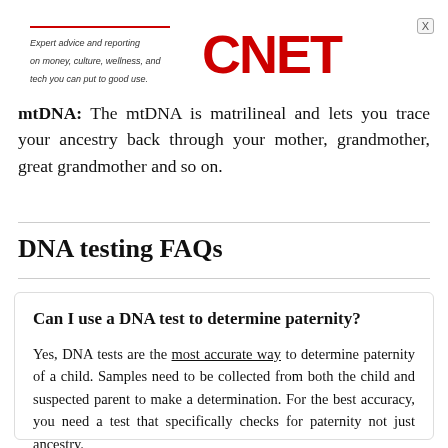Expert advice and reporting on money, culture, wellness, and tech you can put to good use. CNET
mtDNA: The mtDNA is matrilineal and lets you trace your ancestry back through your mother, grandmother, great grandmother and so on.
DNA testing FAQs
Can I use a DNA test to determine paternity?
Yes, DNA tests are the most accurate way to determine paternity of a child. Samples need to be collected from both the child and suspected parent to make a determination. For the best accuracy, you need a test that specifically checks for paternity not just ancestry.